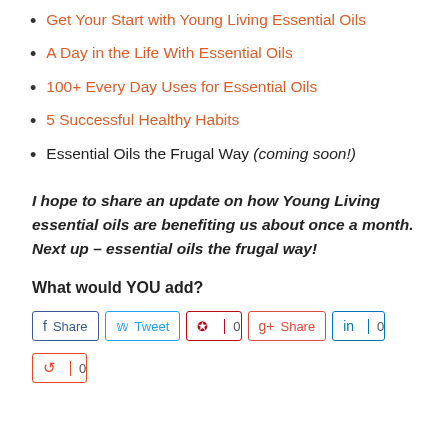Get Your Start with Young Living Essential Oils
A Day in the Life With Essential Oils
100+ Every Day Uses for Essential Oils
5 Successful Healthy Habits
Essential Oils the Frugal Way (coming soon!)
I hope to share an update on how Young Living essential oils are benefiting us about once a month. Next up – essential oils the frugal way!
What would YOU add?
[Figure (other): Social sharing buttons: Facebook Share, Twitter Tweet, Pinterest 0, Google+ Share, LinkedIn 0, StumbleUpon 0]